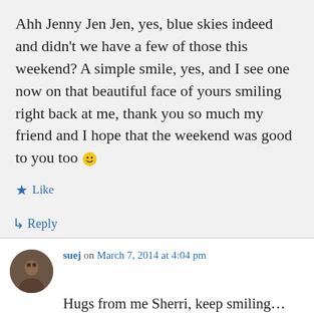Ahh Jenny Jen Jen, yes, blue skies indeed and didn't we have a few of those this weekend? A simple smile, yes, and I see one now on that beautiful face of yours smiling right back at me, thank you so much my friend and I hope that the weekend was good to you too 🙂
★ Like
↳ Reply
suej on March 7, 2014 at 4:04 pm
Hugs from me Sherri, keep smiling... Easy for me to say because I am naturally a positive person, thank the happy star that I was born under.... But good to hear that things are